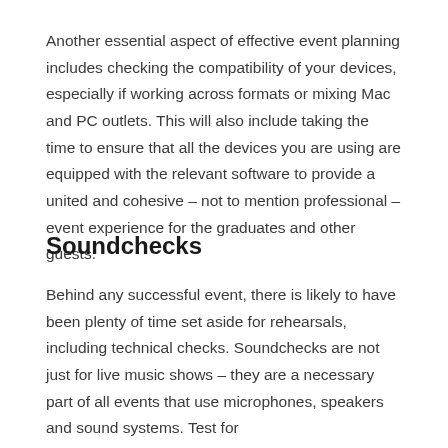Another essential aspect of effective event planning includes checking the compatibility of your devices, especially if working across formats or mixing Mac and PC outlets. This will also include taking the time to ensure that all the devices you are using are equipped with the relevant software to provide a united and cohesive – not to mention professional – event experience for the graduates and other guests.
Soundchecks
Behind any successful event, there is likely to have been plenty of time set aside for rehearsals, including technical checks. Soundchecks are not just for live music shows – they are a necessary part of all events that use microphones, speakers and sound systems. Test for